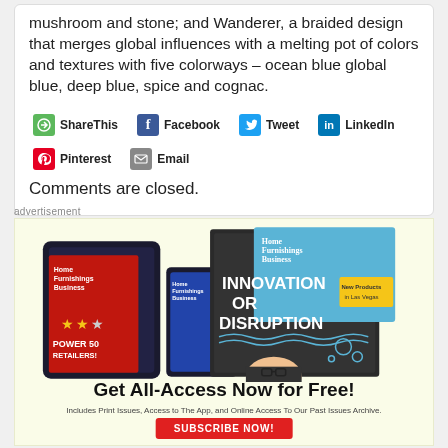mushroom and stone; and Wanderer, a braided design that merges global influences with a melting pot of colors and textures with five colorways – ocean blue global blue, deep blue, spice and cognac.
ShareThis  Facebook  Tweet  LinkedIn  Pinterest  Email
Comments are closed.
advertisement
[Figure (photo): Advertisement for Home Furnishings Business magazine. Shows magazine covers with 'INNOVATION OR DISRUPTION' headline. Text reads: Get All-Access Now for Free! Includes Print Issues, Access to The App, and Online Access To Our Past Issues Archive. SUBSCRIBE NOW!]